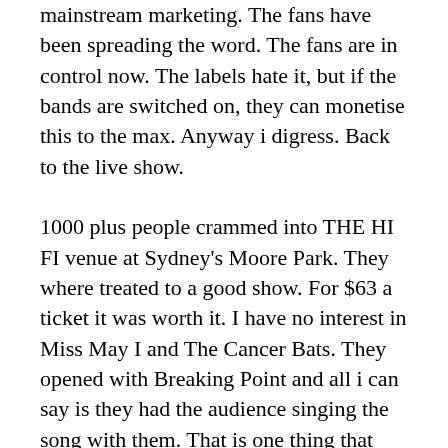mainstream marketing.  The fans have been spreading the word.  The fans are in control now.  The labels hate it, but if the bands are switched on, they can monetise this to the max.  Anyway i digress.  Back to the live show.
1000 plus people crammed into THE HI FI venue at Sydney's Moore Park.  They where treated to a good show.  For $63 a ticket it was worth it.  I have no interest in Miss May I and The Cancer Bats.  They opened with Breaking Point and all i can say is they had the audience singing the song with them.  That is one thing that caught my attention,